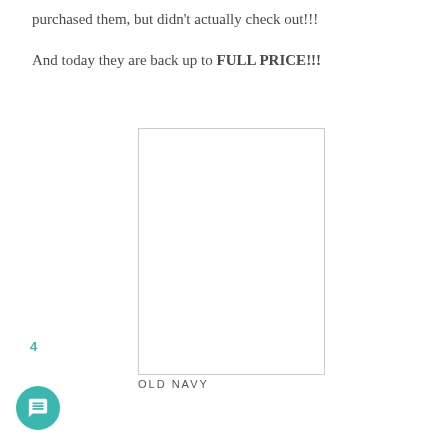purchased them, but didn't actually check out!!!

And today they are back up to FULL PRICE!!!
[Figure (other): A blank white rectangular image placeholder with a light gray border, labeled OLD NAVY below.]
OLD NAVY
4